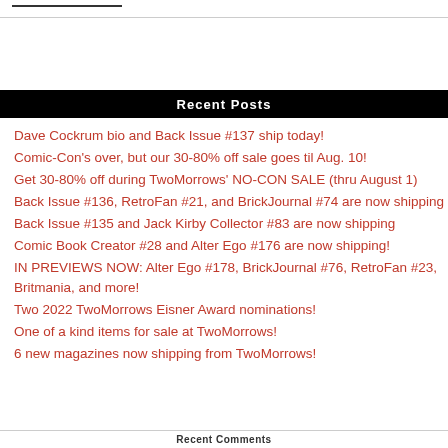Recent Posts
Dave Cockrum bio and Back Issue #137 ship today!
Comic-Con's over, but our 30-80% off sale goes til Aug. 10!
Get 30-80% off during TwoMorrows' NO-CON SALE (thru August 1)
Back Issue #136, RetroFan #21, and BrickJournal #74 are now shipping
Back Issue #135 and Jack Kirby Collector #83 are now shipping
Comic Book Creator #28 and Alter Ego #176 are now shipping!
IN PREVIEWS NOW: Alter Ego #178, BrickJournal #76, RetroFan #23, Britmania, and more!
Two 2022 TwoMorrows Eisner Award nominations!
One of a kind items for sale at TwoMorrows!
6 new magazines now shipping from TwoMorrows!
Recent Comments